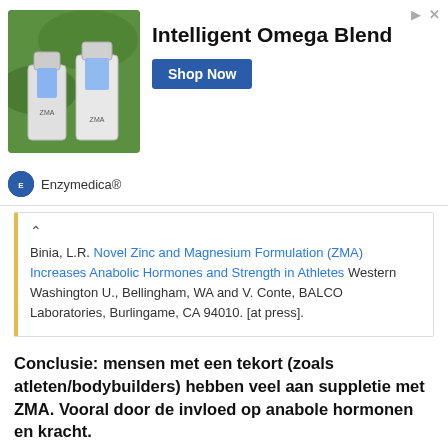[Figure (other): Advertisement banner for Enzymedica Intelligent Omega Blend supplement with a Shop Now button]
Binia, L.R. Novel Zinc and Magnesium Formulation (ZMA) Increases Anabolic Hormones and Strength in Athletes Western Washington U., Bellingham, WA and V. Conte, BALCO Laboratories, Burlingame, CA 94010. [at press].
Conclusie: mensen met een tekort (zoals atleten/bodybuilders) hebben veel aan suppletie met ZMA. Vooral door de invloed op anabole hormonen en kracht.
Big-T
Administrator Admin Founder - R.I.P. +15 jaar member
1 okt 2006
#3
Meer onderzoeken:
1. The effect of zinc supplementation on immune function...